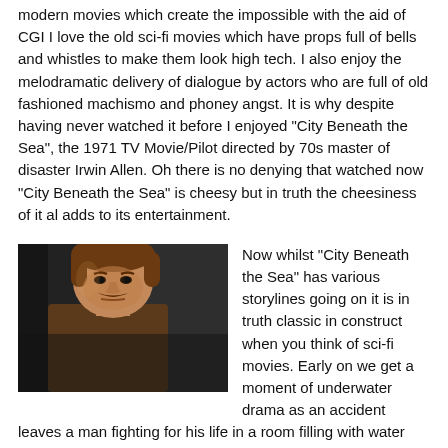modern movies which create the impossible with the aid of CGI I love the old sci-fi movies which have props full of bells and whistles to make them look high tech. I also enjoy the melodramatic delivery of dialogue by actors who are full of old fashioned machismo and phoney angst. It is why despite having never watched it before I enjoyed "City Beneath the Sea", the 1971 TV Movie/Pilot directed by 70s master of disaster Irwin Allen. Oh there is no denying that watched now "City Beneath the Sea" is cheesy but in truth the cheesiness of it al adds to its entertainment.
[Figure (photo): A man with a mustache and brown hair looking intensely at the camera, from a dark scene, appears to be a still from a 1970s TV movie or film.]
Now whilst "City Beneath the Sea" has various storylines going on it is in truth classic in construct when you think of sci-fi movies. Early on we get a moment of underwater drama as an accident leaves a man fighting for his life in a room filling with water and that of course gives Mike a chance to show how heroic he is. But then just like the nefarious Dr. Zachary Smith in